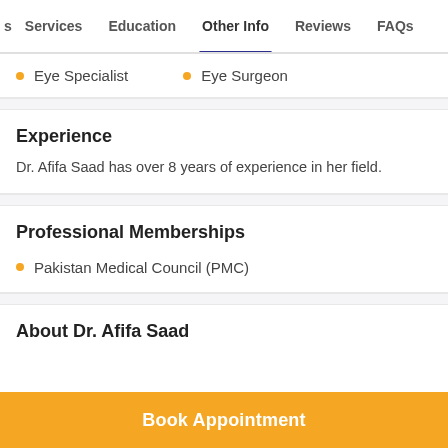Services  Education  Other Info  Reviews  FAQs
Eye Specialist
Eye Surgeon
Experience
Dr. Afifa Saad has over 8 years of experience in her field.
Professional Memberships
Pakistan Medical Council (PMC)
About Dr. Afifa Saad
Book Appointment